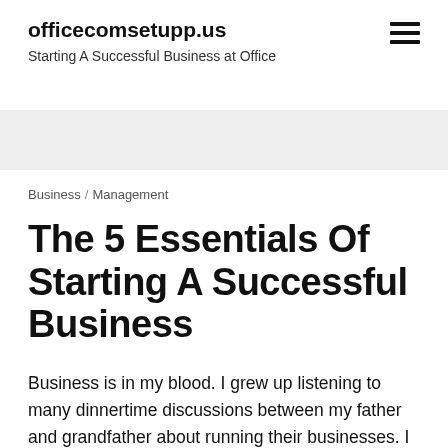officecomsetupp.us
Starting A Successful Business at Office
Business   Management
The 5 Essentials Of Starting A Successful Business
Business is in my blood. I grew up listening to many dinnertime discussions between my father and grandfather about running their businesses. I heard about the issues, challenges and successes they faced every